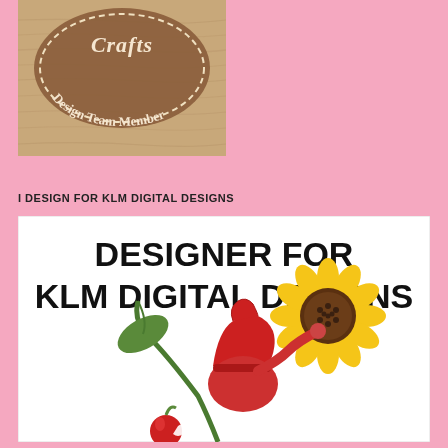[Figure (logo): Round brown leather-look badge with stitched border reading 'Crafts Design Team Member' on a wood-grain background]
I DESIGN FOR KLM DIGITAL DESIGNS
[Figure (illustration): White card panel with bold text 'DESIGNER FOR KLM DIGITAL DESIGNS' and an illustration of a gnome in a red hat holding a sunflower stem with a sunflower bloom and a small apple nearby]